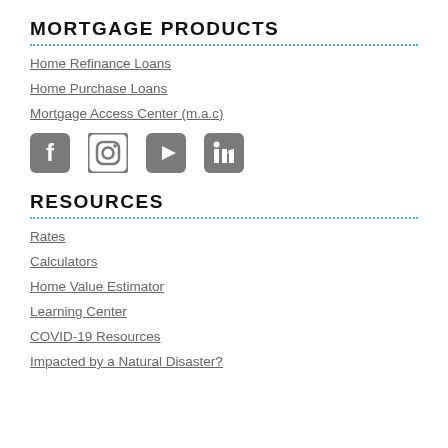MORTGAGE PRODUCTS
Home Refinance Loans
Home Purchase Loans
Mortgage Access Center (m.a.c)
[Figure (illustration): Social media icons: Facebook, Instagram, YouTube, LinkedIn]
RESOURCES
Rates
Calculators
Home Value Estimator
Learning Center
COVID-19 Resources
Impacted by a Natural Disaster?